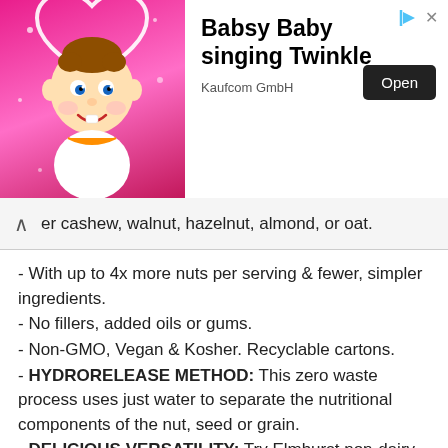[Figure (screenshot): Advertisement banner for 'Babsy Baby singing Twinkle' app by Kaufcom GmbH. Shows a cartoon baby with a heart halo on a pink background on the left, and the app title with an 'Open' button on the right.]
er cashew, walnut, hazelnut, almond, or oat.
- With up to 4x more nuts per serving & fewer, simpler ingredients.
- No fillers, added oils or gums.
- Non-GMO, Vegan & Kosher. Recyclable cartons.
- HYDRORELEASE METHOD: This zero waste process uses just water to separate the nutritional components of the nut, seed or grain.
- DELICIOUS VERSATILITY: Try Elmhurst non-dairy milks & creamers for a variety of uses beyond drinking & coffee. Enjoy the creaminess & nutrition in cereal, hot chocolate, cooking, smoothies, soups & baking.
- Other flavours include Almond, Cashew, Hazelnut and Walnut